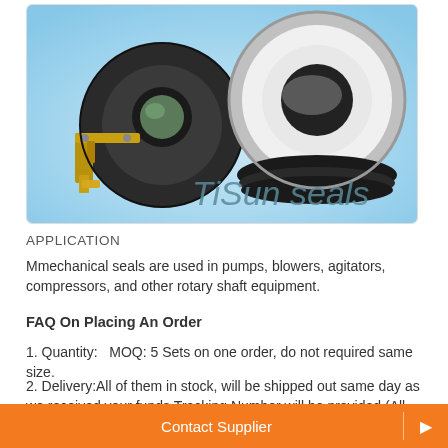[Figure (photo): Product photo showing two mechanical seals (one with metal bracket and one disc-shaped seal ring) on a light blue background with text 'TiSun seals']
APPLICATION
Mmechanical seals are used in pumps, blowers, agitators, compressors, and other rotary shaft equipment.
FAQ On Placing An Order
1. Quantity:   MOQ: 5 Sets on one order, do not required same size.
2. Delivery:All of them in stock, will be shipped out same day as we received your funds.Tracking Number will be provided (All delivered